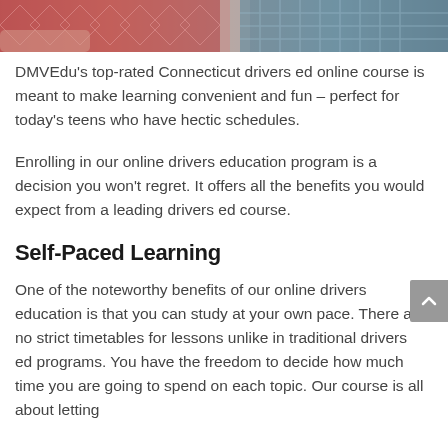[Figure (photo): Partial photo strip at top of page showing fabric/textile patterns in pink/red and blue-gray tones]
DMVEdu's top-rated Connecticut drivers ed online course is meant to make learning convenient and fun – perfect for today's teens who have hectic schedules.
Enrolling in our online drivers education program is a decision you won't regret. It offers all the benefits you would expect from a leading drivers ed course.
Self-Paced Learning
One of the noteworthy benefits of our online drivers education is that you can study at your own pace. There are no strict timetables for lessons unlike in traditional drivers ed programs. You have the freedom to decide how much time you are going to spend on each topic. Our course is all about letting